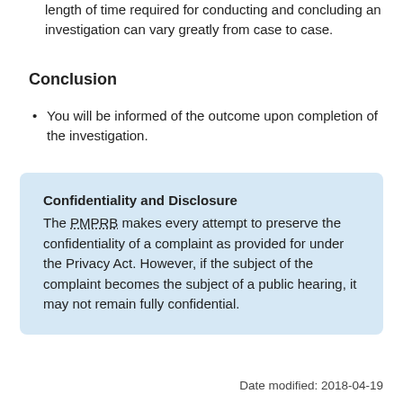length of time required for conducting and concluding an investigation can vary greatly from case to case.
Conclusion
You will be informed of the outcome upon completion of the investigation.
Confidentiality and Disclosure
The PMPRB makes every attempt to preserve the confidentiality of a complaint as provided for under the Privacy Act. However, if the subject of the complaint becomes the subject of a public hearing, it may not remain fully confidential.
Date modified: 2018-04-19